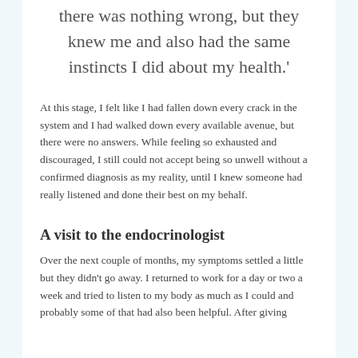there was nothing wrong, but they knew me and also had the same instincts I did about my health.'
At this stage, I felt like I had fallen down every crack in the system and I had walked down every available avenue, but there were no answers. While feeling so exhausted and discouraged, I still could not accept being so unwell without a confirmed diagnosis as my reality, until I knew someone had really listened and done their best on my behalf.
A visit to the endocrinologist
Over the next couple of months, my symptoms settled a little but they didn't go away. I returned to work for a day or two a week and tried to listen to my body as much as I could and probably some of that had also been helpful. After giving